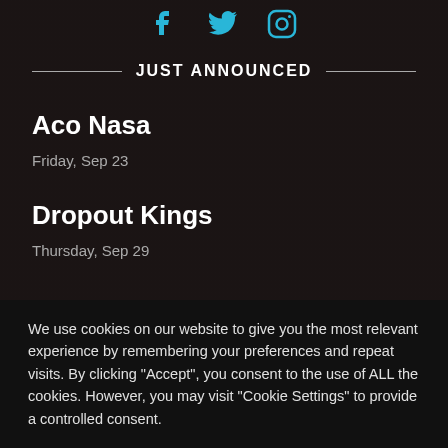[Figure (illustration): Social media icons: Facebook, Twitter, Instagram in cyan/teal color on dark background]
JUST ANNOUNCED
Aco Nasa
Friday, Sep 23
Dropout Kings
Thursday, Sep 29
We use cookies on our website to give you the most relevant experience by remembering your preferences and repeat visits. By clicking “Accept”, you consent to the use of ALL the cookies. However, you may visit “Cookie Settings” to provide a controlled consent.
PRIVACY POLICY | Cookie Settings | ACCEPT